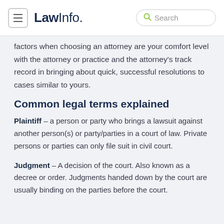LawInfo. Search
factors when choosing an attorney are your comfort level with the attorney or practice and the attorney's track record in bringing about quick, successful resolutions to cases similar to yours.
Common legal terms explained
Plaintiff – a person or party who brings a lawsuit against another person(s) or party/parties in a court of law. Private persons or parties can only file suit in civil court.
Judgment – A decision of the court. Also known as a decree or order. Judgments handed down by the court are usually binding on the parties before the court.